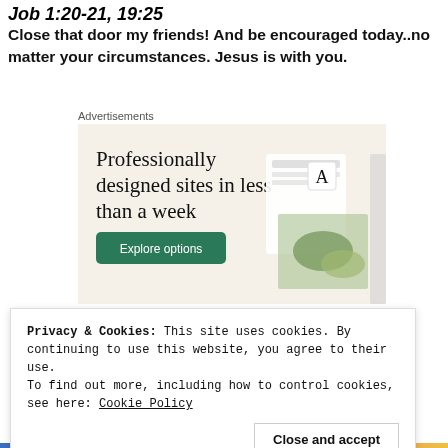Job 1:20-21, 19:25
Close that door my friends!  And be encouraged today..no matter your circumstances.  Jesus is with you.
Advertisements
[Figure (screenshot): Advertisement banner: 'Professionally designed sites in less than a week' with a green 'Explore options' button and website mockup images on a beige background.]
Privacy & Cookies: This site uses cookies. By continuing to use this website, you agree to their use.
To find out more, including how to control cookies, see here: Cookie Policy
Close and accept